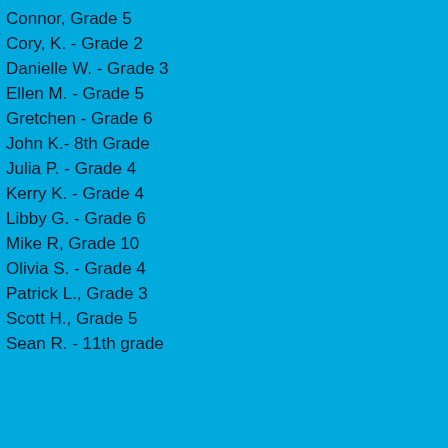Connor, Grade 5
Cory, K. - Grade 2
Danielle W. - Grade 3
Ellen M. - Grade 5
Gretchen - Grade 6
John K.- 8th Grade
Julia P. - Grade 4
Kerry K. - Grade 4
Libby G. - Grade 6
Mike R, Grade 10
Olivia S. - Grade 4
Patrick L., Grade 3
Scott H., Grade 5
Sean R. - 11th grade